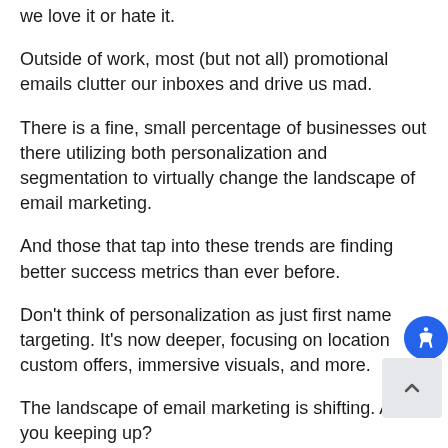we love it or hate it.
Outside of work, most (but not all) promotional emails clutter our inboxes and drive us mad.
There is a fine, small percentage of businesses out there utilizing both personalization and segmentation to virtually change the landscape of email marketing.
And those that tap into these trends are finding better success metrics than ever before.
Don't think of personalization as just first name targeting. It's now deeper, focusing on location custom offers, immersive visuals, and more.
The landscape of email marketing is shifting. Are you keeping up?